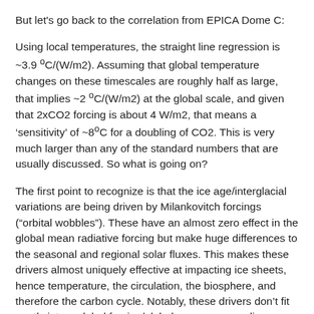But let's go back to the correlation from EPICA Dome C:
Using local temperatures, the straight line regression is ~3.9 oC/(W/m2). Assuming that global temperature changes on these timescales are roughly half as large, that implies ~2 oC/(W/m2) at the global scale, and given that 2xCO2 forcing is about 4 W/m2, that means a ‘sensitivity’ of ~8oC for a doubling of CO2. This is very much larger than any of the standard numbers that are usually discussed. So what is going on?
The first point to recognize is that the ice age/interglacial variations are being driven by Milankovitch forcings (“orbital wobbles”). These have an almost zero effect in the global mean radiative forcing but make huge differences to the seasonal and regional solar fluxes. This makes these drivers almost uniquely effective at impacting ice sheets, hence temperature, the circulation, the biosphere, and therefore the carbon cycle. Notably, these drivers don’t fit neatly into a global forcing/global response paradigm.
Second, the relationship we are seeing in the ice cores is